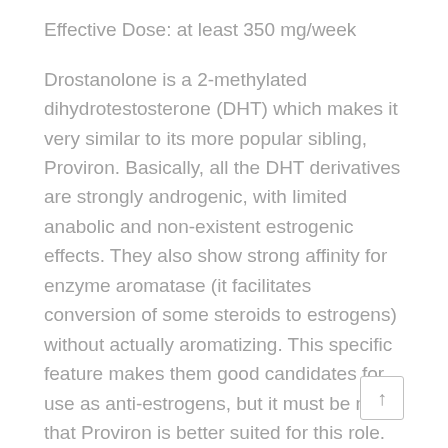Effective Dose: at least 350 mg/week
Drostanolone is a 2-methylated dihydrotestosterone (DHT) which makes it very similar to its more popular sibling, Proviron. Basically, all the DHT derivatives are strongly androgenic, with limited anabolic and non-existent estrogenic effects. They also show strong affinity for enzyme aromatase (it facilitates conversion of some steroids to estrogens) without actually aromatizing. This specific feature makes them good candidates for use as anti-estrogens, but it must be noted that Proviron is better suited for this role. Drostanolone propionate is therefore used in bodybuilding solely as an androgenic steroid during the cutting cycle. Although often stacked with